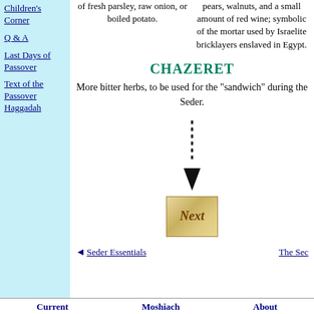Children's Corner
Q & A
Last Days of Passover
Text of the Passover Haggadah
of fresh parsley, raw onion, or boiled potato.
pears, walnuts, and a small amount of red wine; symbolic of the mortar used by Israelite bricklayers enslaved in Egypt.
CHAZERET
More bitter herbs, to be used for the "sandwich" during the Seder.
[Figure (illustration): Dashed downward arrow graphic]
[Figure (illustration): Next button image with cursive 'Next' text on aged parchment background]
◄Seder Essentials
The Sec
Current   Moshiach   About